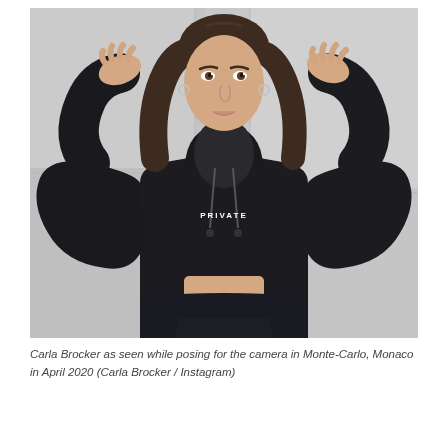[Figure (photo): A young woman with long brown hair wearing a black cropped hoodie with 'PRIVATE' written on it, posing with both hands raised near her forehead. The background shows light grey wall panels. The photo is from Monte-Carlo, Monaco, April 2020 (Carla Brocker / Instagram).]
Carla Brocker as seen while posing for the camera in Monte-Carlo, Monaco in April 2020 (Carla Brocker / Instagram)